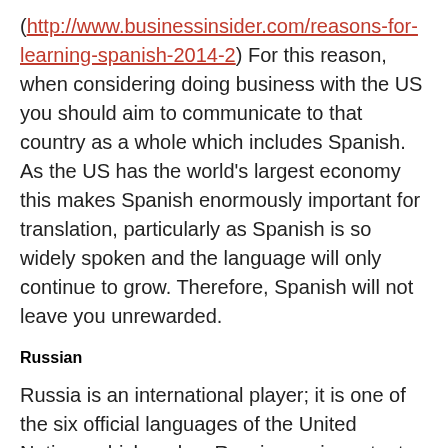(http://www.businessinsider.com/reasons-for-learning-spanish-2014-2) For this reason, when considering doing business with the US you should aim to communicate to that country as a whole which includes Spanish. As the US has the world's largest economy this makes Spanish enormously important for translation, particularly as Spanish is so widely spoken and the language will only continue to grow. Therefore, Spanish will not leave you unrewarded.
Russian
Russia is an international player; it is one of the six official languages of the United Nations which makes Russian an important language for